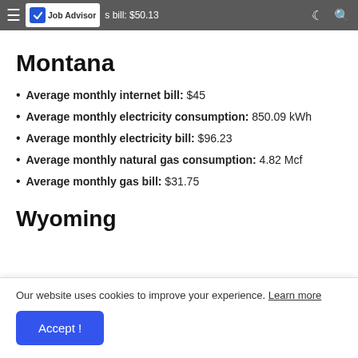Average monthly internet bill: $50.13 — Job Advisor
Montana
Average monthly internet bill: $45
Average monthly electricity consumption: 850.09 kWh
Average monthly electricity bill: $96.23
Average monthly natural gas consumption: 4.82 Mcf
Average monthly gas bill: $31.75
Wyoming
Our website uses cookies to improve your experience. Learn more
Accept !